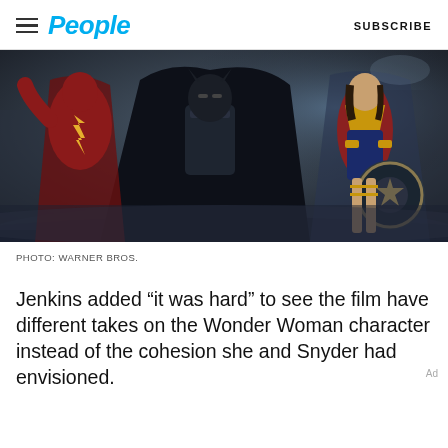People | SUBSCRIBE
[Figure (photo): Movie still showing three superhero characters — Flash in red armor on the left, Batman in dark cape in the center, and Wonder Woman in her iconic costume on the right, standing in a dramatic, moody scene.]
PHOTO: WARNER BROS.
Jenkins added “it was hard” to see the film have different takes on the Wonder Woman character instead of the cohesion she and Snyder had envisioned.